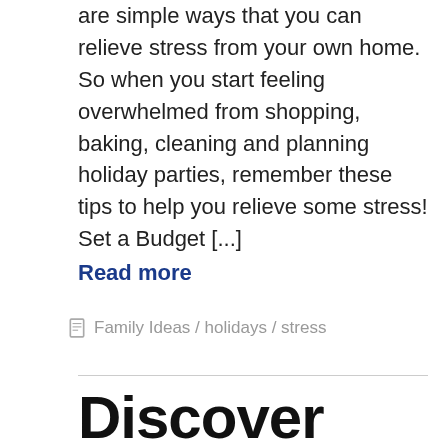are simple ways that you can relieve stress from your own home. So when you start feeling overwhelmed from shopping, baking, cleaning and planning holiday parties, remember these tips to help you relieve some stress! Set a Budget [...]
Read more
Family Ideas / holidays / stress
Discover These